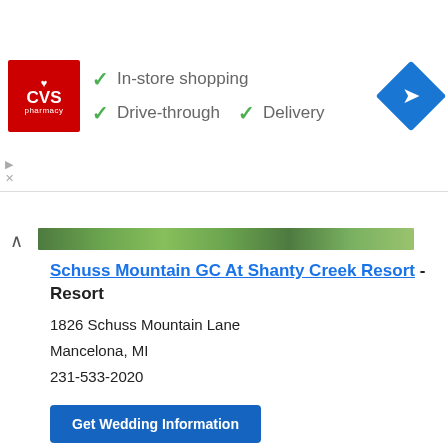[Figure (infographic): CVS Pharmacy advertisement banner showing CVS logo and checkmarks for In-store shopping, Drive-through, and Delivery, with a blue navigation diamond icon on the right]
[Figure (photo): Green landscape/foliage strip image at top of listing]
Schuss Mountain GC At Shanty Creek Resort - Resort
1826 Schuss Mountain Lane
Mancelona, MI
231-533-2020
Get Wedding Information
View Wedding Reception Information »
Say I Do to a Shanty Creek Wedding.
Shanty Creek creates the perfect northern Michigan wedding venue. Destination weddings at Shanty Creek provide a setting that sets everyone at ease. Let our award-winning service staff and wedding coordinator help you plan your perfect day in a perfect up north setting.